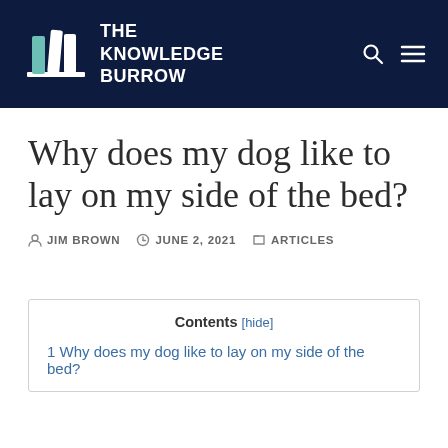THE KNOWLEDGE BURROW
Why does my dog like to lay on my side of the bed?
JIM BROWN   JUNE 2, 2021   ARTICLES
Contents [hide]
1 Why does my dog like to lay on my side of the bed?